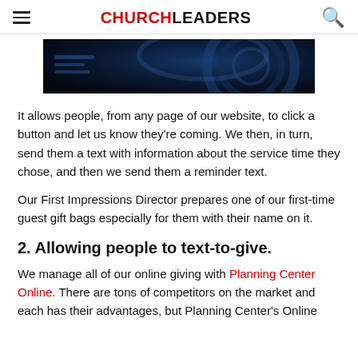CHURCHLEADERS
[Figure (photo): Dark technology-themed banner image with blue circular design elements on black background]
It allows people, from any page of our website, to click a button and let us know they're coming. We then, in turn, send them a text with information about the service time they chose, and then we send them a reminder text.
Our First Impressions Director prepares one of our first-time guest gift bags especially for them with their name on it.
2. Allowing people to text-to-give.
We manage all of our online giving with Planning Center Online. There are tons of competitors on the market and each has their advantages, but Planning Center's Online